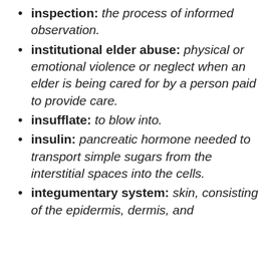inspection: the process of informed observation.
institutional elder abuse: physical or emotional violence or neglect when an elder is being cared for by a person paid to provide care.
insufflate: to blow into.
insulin: pancreatic hormone needed to transport simple sugars from the interstitial spaces into the cells.
integumentary system: skin, consisting of the epidermis, dermis, and